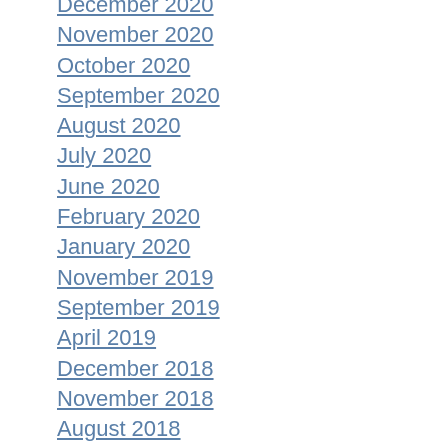December 2020
November 2020
October 2020
September 2020
August 2020
July 2020
June 2020
February 2020
January 2020
November 2019
September 2019
April 2019
December 2018
November 2018
August 2018
May 2017
April 2017
February 2017
December 2016